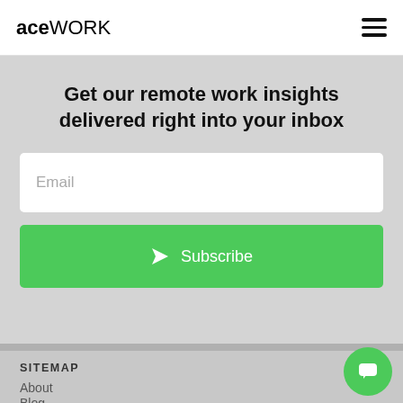ace WORK
Get our remote work insights delivered right into your inbox
Email
Subscribe
SITEMAP
About
Blog
FAQ
For Candidates
Candidate Coaching